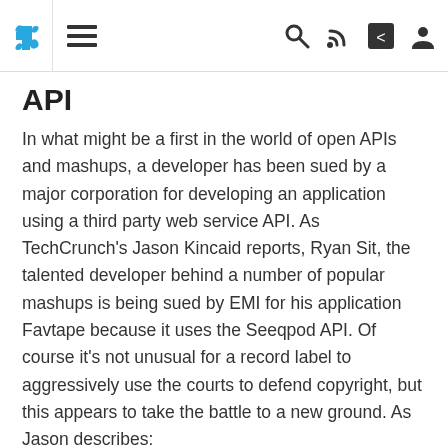[Navigation bar with puzzle logo, hamburger menu, search, RSS, share, and user icons]
API
In what might be a first in the world of open APIs and mashups, a developer has been sued by a major corporation for developing an application using a third party web service API. As TechCrunch's Jason Kincaid reports, Ryan Sit, the talented developer behind a number of popular mashups is being sued by EMI for his application Favtape because it uses the Seeqpod API. Of course it's not unusual for a record label to aggressively use the courts to defend copyright, but this appears to take the battle to a new ground. As Jason describes:
News · John Musser · Financial, Music ·